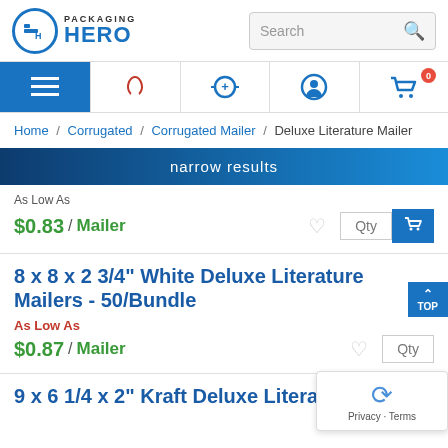Packaging Hero — Search bar
[Figure (logo): Packaging Hero logo with circle PH icon and blue text]
As Low As $0.83 / Mailer
8 x 8 x 2 3/4" White Deluxe Literature Mailers - 50/Bundle
As Low As $0.87 / Mailer
9 x 6 1/4 x 2" Kraft Deluxe Literature Mailer -